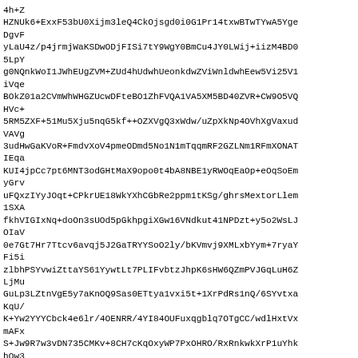4h+Z
HZNUk6+ExxF53bU0Xijm3leQ4CkOjsgd0i0G1Pr14txwBTwTYwA5Yge
DgvF
yLaU4z/p4jrmjWaKSDwODjFISi7tY9WgY0BmCu4JY0LWij+iizM4BD0
5LpY
g0NQnkWoI1JWhEUgZVM+ZUd4hUdwhUeonkdwZViWnldwhEew5Vi25V1
iVqe
BOkZ01a2CVmWhWHGZUcwDFteBO1ZhFVQA1VA5XM5BD40ZVR+CW9O5VQ
HVc+
5RM5ZXF+51Mu5Xju5nqG5kf++OZXVgQ3xWdw/uZpXkNp4OVhXgVaxud
VAVg
3udHwGaKVoR+FmdvXoV4pmeODmd5No1N1mTqqmRF2GZLNm1RFmXONAT
IEqa
KUI4jpCc7pt6MNT3odGHtMaX9opo0t4bA8NBE1yRWOqEaOp+eOqSoEm
yGrv
uFQxzIYyJOqt+CPkrUE18WkYXhCGbRe2ppm1tKSg/ghrsMextorLlem
1SXA
fkhVIGIxNq+doOn3sUOd5pGkhpgiXGw16VNdkut41NPDzt+y5o2WsLJ
OIaV
0e7Gt7Hr7Ttcv6avqj5J2GaTRYYSoO2ly/bKVmvj9XMLxbYym+7ryaY
Fi5i
zlbhPSYvwiZttaYS61YywtLt7PLIFvbtzJhpK6sHW6QZmPVJGqLuH6Z
LjMu
GuLp3LZtnVgE5y7aKnOQ9Sas0ETtya1vxi5t+1XrPdRs1nQ/6SYvtxa
KqU/
K+Yw2YYYCbck4e6lr/4OENRR/4YI84OUFuxqgblq7OTgCC/wdlHxtVx
mAFx
S+Jw9R7w3vDN735CMKv+8CH7cKqOxyWP7PxOHRO/RxRnkwkXrP1uYhk
hQw3
wx/tQI5gxczI72ggH/XVEcNoKoFoVB9ucnD5CUg74zCXFQjHDDP3QSQ